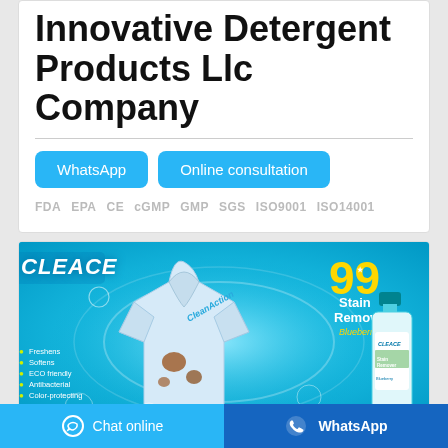Innovative Detergent Products Llc Company
WhatsApp   Online consultation
FDA  EPA  CE  cGMP  GMP  SGS  ISO9001  ISO14001
[Figure (photo): Product advertisement image for CLEACE 99 Stain Remover Blueberry detergent. Shows a light blue shirt with stain marks, soap bubbles, and a bottle of the product on right. Features bullet points: Freshens, Softens, ECO friendly, Antibacterial, Color-protecting, Non-harmful to skin.]
Sell well in many countries
Chat online   WhatsApp